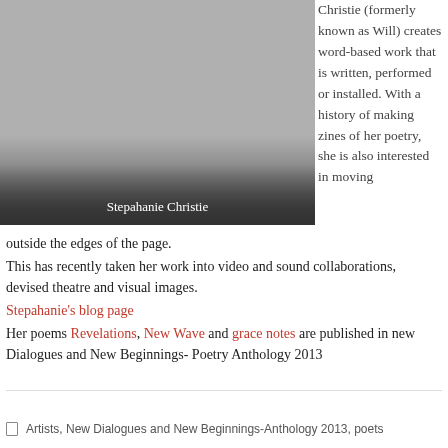[Figure (photo): Photo of Stepahanie Christie with dark gradient overlay at bottom]
Stepahanie Christie
Christie (formerly known as Will) creates word-based work that is written, performed or installed. With a history of making zines of her poetry, she is also interested in moving outside the edges of the page.
This has recently taken her work into video and sound collaborations, devised theatre and visual images.
Stepahanie's blog page
Her poems Revelations, New Wave and grace notes are published in new Dialogues and New Beginnings- Poetry Anthology 2013
Artists, New Dialogues and New Beginnings-Anthology 2013, poets